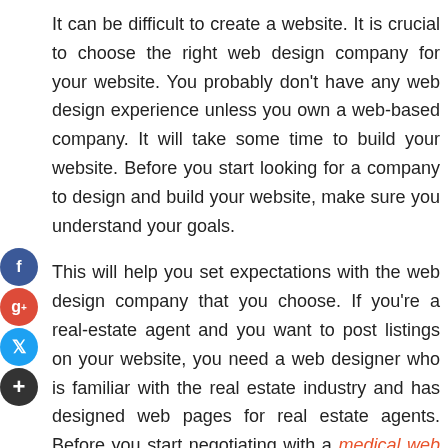It can be difficult to create a website. It is crucial to choose the right web design company for your website. You probably don't have any web design experience unless you own a web-based company. It will take some time to build your website. Before you start looking for a company to design and build your website, make sure you understand your goals.
This will help you set expectations with the web design company that you choose. If you're a real-estate agent and you want to post listings on your website, you need a web designer who is familiar with the real estate industry and has designed web pages for real estate agents. Before you start negotiating with a medical web designer, be aware of your budget.